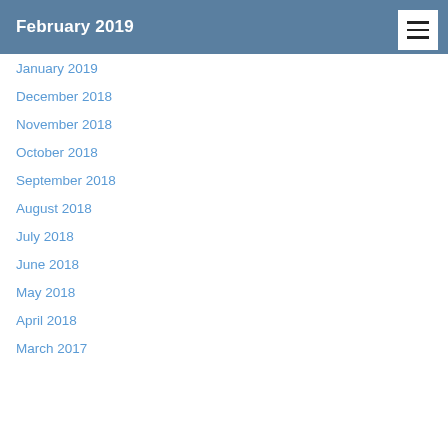February 2019
January 2019
December 2018
November 2018
October 2018
September 2018
August 2018
July 2018
June 2018
May 2018
April 2018
March 2017